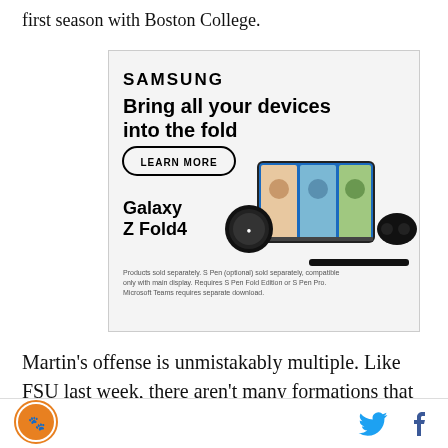first season with Boston College.
[Figure (illustration): Samsung advertisement for Galaxy Z Fold4. Shows Samsung logo, headline 'Bring all your devices into the fold', a 'LEARN MORE' button, product name 'Galaxy Z Fold4', an image of the folded phone with video call on screen, a smartwatch, earbuds, and an S Pen. Disclaimer text at bottom reads: 'Products sold separately. S Pen (optional) sold separately, compatible only with main display. Requires S Pen Fold Edition or S Pen Pro. Microsoft Teams requires separate download.']
Martin's offense is unmistakably multiple. Like FSU last week, there aren't many formations that this team cannot use. You will see them under center, out of the